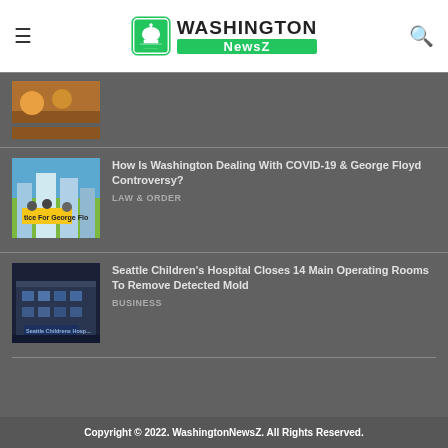Washington NewsZ
[Figure (photo): Partial view of a news article thumbnail showing people in orange, likely a protest or event scene]
[Figure (illustration): Cartoon/illustration showing protest scene with 'Justice For George Flo...' sign and city skyline]
How Is Washington Dealing With COVID-19 & George Floyd Controversy?
LAW & ORDER
[Figure (photo): Photo of Seattle Children's Hospital building exterior at night]
Seattle Children's Hospital Closes 14 Main Operating Rooms To Remove Detected Mold
BUSINESS
Copyright © 2022. WashingtonNewsZ. All Rights Reserved.